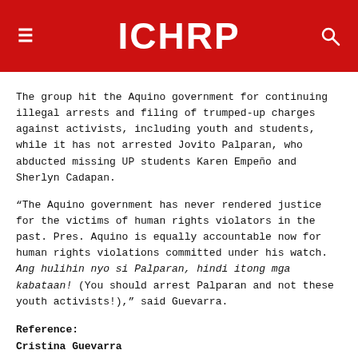ICHRP
The group hit the Aquino government for continuing illegal arrests and filing of trumped-up charges against activists, including youth and students, while it has not arrested Jovito Palparan, who abducted missing UP students Karen Empeño and Sherlyn Cadapan.
“The Aquino government has never rendered justice for the victims of human rights violators in the past. Pres. Aquino is equally accountable now for human rights violations committed under his watch. Ang hulihin nyo si Palparan, hindi itong mga kabataan! (You should arrest Palparan and not these youth activists!),” said Guevarra.
Reference:
Cristina Guevarra
Hustisya secretary general
+63949-1772928
—————————.